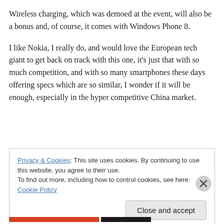Wireless charging, which was demoed at the event, will also be a bonus and, of course, it comes with Windows Phone 8.
I like Nokia, I really do, and would love the European tech giant to get back on track with this one, it’s just that with so much competition, and with so many smartphones these days offering specs which are so similar, I wonder if it will be enough, especially in the hyper competitive China market.
Privacy & Cookies: This site uses cookies. By continuing to use this website, you agree to their use.
To find out more, including how to control cookies, see here: Cookie Policy